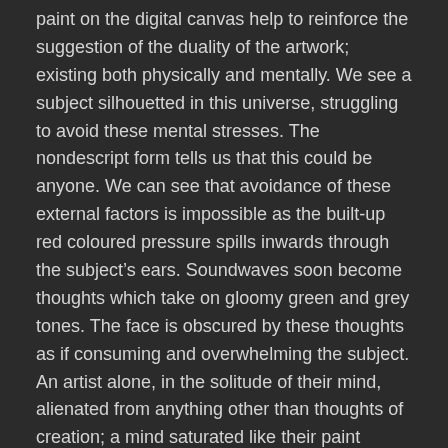paint on the digital canvas help to reinforce the suggestion of the duality of the artwork; existing both physically and mentally. We see a subject silhouetted in this universe, struggling to avoid these mental stresses. The nondescript form tells us that this could be anyone. We can see that avoidance of these external factors is impossible as the built-up red coloured pressure spills inwards through the subject's ears. Soundwaves soon become thoughts which take on gloomy green and grey tones. The face is obscured by these thoughts as if consuming and overwhelming the subject. An artist alone, in the solitude of their mind, alienated from anything other than thoughts of creation; a mind saturated like their paint soaked sponge. Thought upon thought; nothing else; overthinking, until a zenith is finally reached to repeat through an infinite cycle.
CohentheWriter's Commentary:
“The mind is a complex system which controls our thoughts and emotions. External pressures that modern society places on us as individuals can quickly become internalised to morph into mental millstones. This artwork captures the essence of our